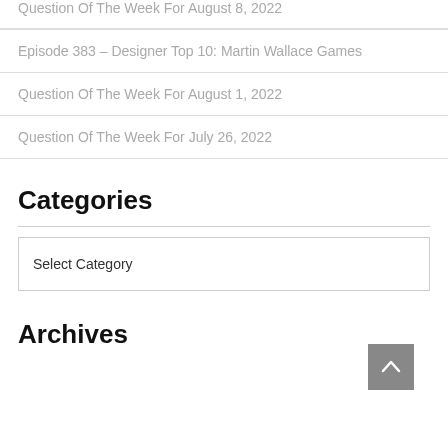Episode 383 – Designer Top 10: Martin Wallace Games
Question Of The Week For August 1, 2022
Question Of The Week For July 26, 2022
Categories
Select Category
Archives